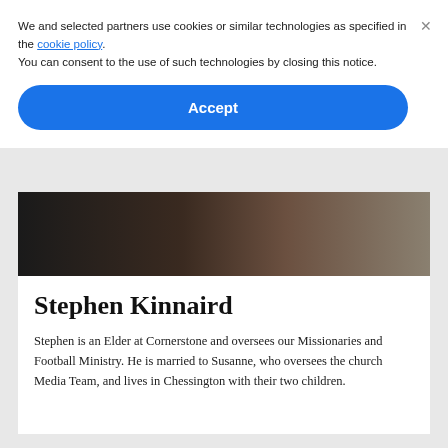We and selected partners use cookies or similar technologies as specified in the cookie policy. You can consent to the use of such technologies by closing this notice.
Accept
[Figure (photo): Close-up photo of a person wearing a leather jacket, showing the collar and upper torso area]
Stephen Kinnaird
Stephen is an Elder at Cornerstone and oversees our Missionaries and Football Ministry. He is married to Susanne, who oversees the church Media Team, and lives in Chessington with their two children.